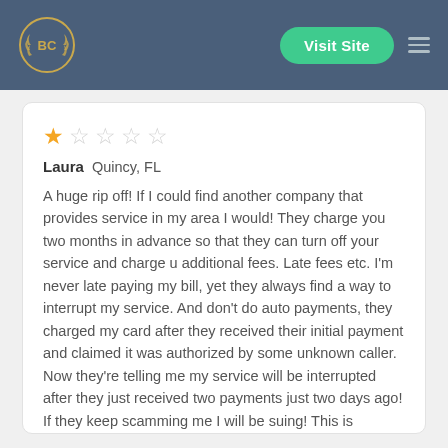BC | Visit Site
★☆☆☆☆
Laura  Quincy, FL
A huge rip off! If I could find another company that provides service in my area I would! They charge you two months in advance so that they can turn off your service and charge u additional fees. Late fees etc. I'm never late paying my bill, yet they always find a way to interrupt my service. And don't do auto payments, they charged my card after they received their initial payment and claimed it was authorized by some unknown caller. Now they're telling me my service will be interrupted after they just received two payments just two days ago! If they keep scamming me I will be suing! This is ridiculous!
3 years ago